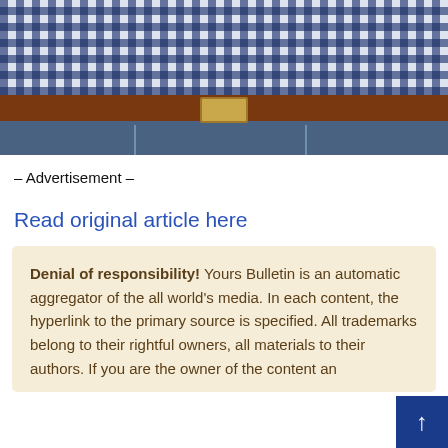[Figure (photo): Cropped photo of a person wearing a blue and white checkered shirt, brown leather belt with buckle, and blue denim jeans. Only the torso/waist area is visible.]
– Advertisement –
Read original article here
Denial of responsibility! Yours Bulletin is an automatic aggregator of the all world's media. In each content, the hyperlink to the primary source is specified. All trademarks belong to their rightful owners, all materials to their authors. If you are the owner of the content an